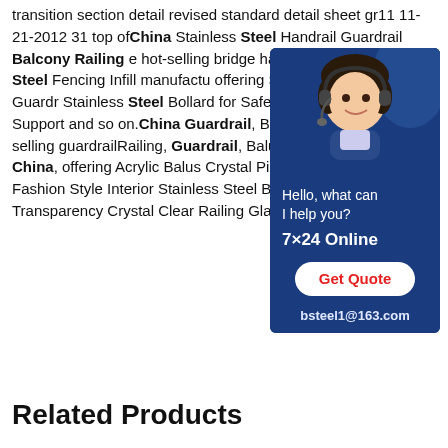transition section detail revised standard detail sheet gr11 11-21-2012 31 top of China Stainless Steel Handrail Guardrail Balcony Railing e hot-selling bridge handrail guardrail, Stainless Steel Rail, Steel Fencing Infill manufacturer / supplier in China, offering Stainless Steel Handrail Guardrail, Stainless Steel Bollard for Safety Post, Stainless Frames Cable Support and so on. China Stainless Steel Guardrail, Baluster Handrail e hot-selling guardrailRailing, Guardrail, Baluster Handrail manufacturer / supplier in China, offering Acrylic Baluster Crystal Pillar Stair Railing, Fashion Style Interior Stainless Steel Balustrade, High Transparency Crystal Clear Railing Glass Pillars
[Figure (photo): Customer service chat widget showing a woman with a headset, 'Hello, what can I help you?', '7x24 Online', 'Get Quote' button, and email bsteel1@163.com on a blue background]
Related Products